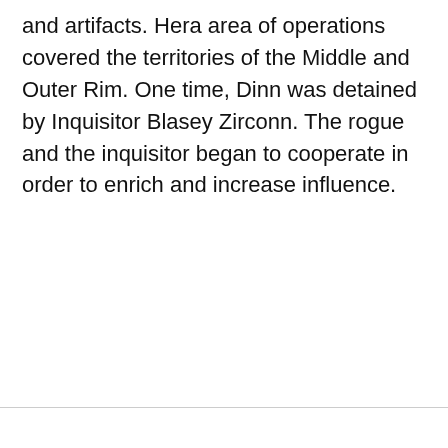and artifacts. Hera area of operations covered the territories of the Middle and Outer Rim. One time, Dinn was detained by Inquisitor Blasey Zirconn. The rogue and the inquisitor began to cooperate in order to enrich and increase influence.